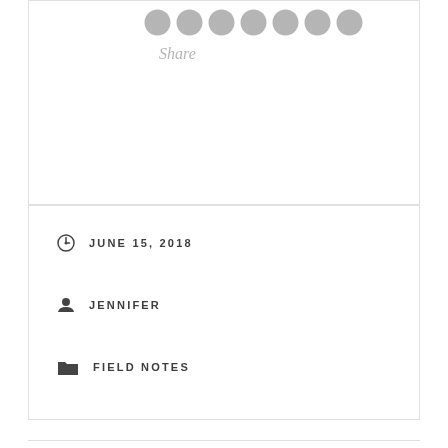[Figure (infographic): Row of social share icon circles in gray]
Share
JUNE 15, 2018
JENNIFER
FIELD NOTES
Leave a Reply
Your email address will not be published. Required fields are marked *
Comment *